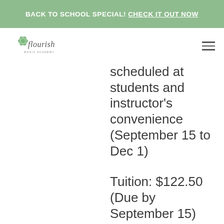BACK TO SCHOOL SPECIAL! CHECK IT OUT NOW
[Figure (logo): Flourish Music Academy logo with stylized flower and cursive text]
scheduled at students and instructor's convenience (September 15 to Dec 1)
Tuition: $122.50 (Due by September 15)
Non-refundable Registration/Materials Fee: $20
Registration